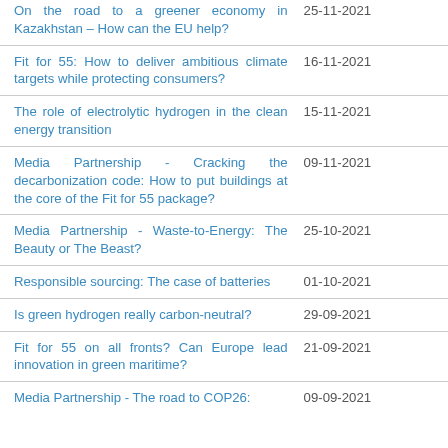| Title | Date |
| --- | --- |
| On the road to a greener economy in Kazakhstan – How can the EU help? | 25-11-2021 |
| Fit for 55: How to deliver ambitious climate targets while protecting consumers? | 16-11-2021 |
| The role of electrolytic hydrogen in the clean energy transition | 15-11-2021 |
| Media Partnership - Cracking the decarbonization code: How to put buildings at the core of the Fit for 55 package? | 09-11-2021 |
| Media Partnership - Waste-to-Energy: The Beauty or The Beast? | 25-10-2021 |
| Responsible sourcing: The case of batteries | 01-10-2021 |
| Is green hydrogen really carbon-neutral? | 29-09-2021 |
| Fit for 55 on all fronts? Can Europe lead innovation in green maritime? | 21-09-2021 |
| Media Partnership - The road to COP26: | 09-09-2021 |